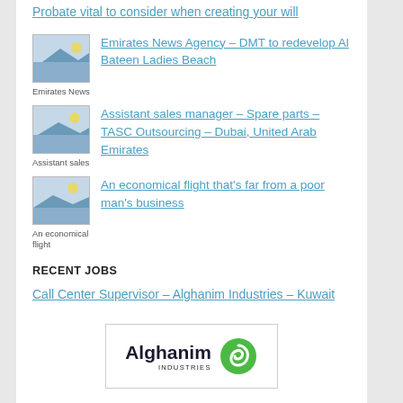Probate vital to consider when creating your will
[Figure (photo): Emirates News thumbnail image]
Emirates News Agency – DMT to redevelop Al Bateen Ladies Beach
[Figure (photo): Assistant sales manager thumbnail image]
Assistant sales manager – Spare parts – TASC Outsourcing – Dubai, United Arab Emirates
[Figure (photo): An economical flight thumbnail image]
An economical flight that's far from a poor man's business
RECENT JOBS
Call Center Supervisor – Alghanim Industries – Kuwait
[Figure (logo): Alghanim Industries logo with green swirl icon]